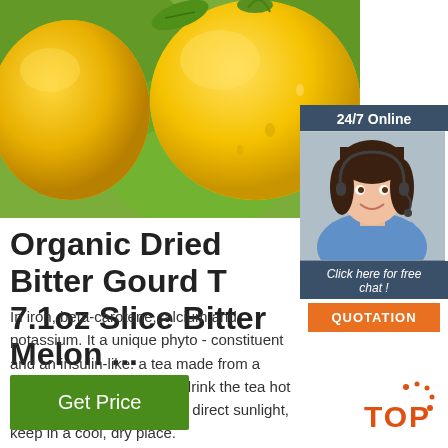[Figure (photo): Close-up photo of yellow lemons/citrus fruits on a green background with water droplets]
[Figure (infographic): 24/7 Online chat widget with a customer service representative wearing a headset, blue background, with 'Click here for free chat!' text and orange QUOTATION button]
Organic Dried Bitter Gourd T 7.1oz Slice Bitter Melon ...
In iron, beta-carotene,calcium and potassium. It a unique phyto - constituent and an insulin-like. a tea made from a tincture or juice. -You can drink the tea hot or cold. -Avoid exposure to direct sunlight, keep in a cool, dry place.
[Figure (logo): TOP logo with orange dots and text]
Get Price